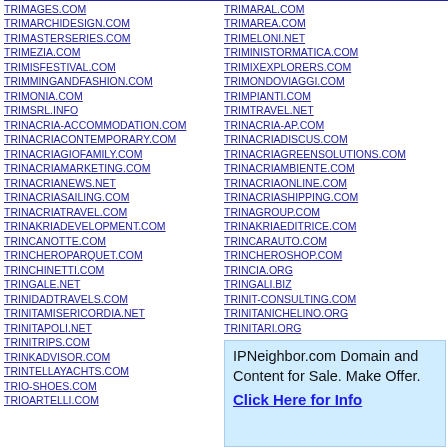TRIMAGES.COM
TRIMARCHIDESIGN.COM
TRIMASTERSERIES.COM
TRIMEZIA.COM
TRIMISFESTIVAL.COM
TRIMMINGANDFASHION.COM
TRIMONIA.COM
TRIMSRL.INFO
TRINACRIA-ACCOMMODATION.COM
TRINACRIACONTEMPORARY.COM
TRINACRIAGIOFAMILY.COM
TRINACRIAMARKETING.COM
TRINACRIANEWS.NET
TRINACRIASAILING.COM
TRINACRIATRAVEL.COM
TRINAKRIADEVELOPMENT.COM
TRINCANOTTE.COM
TRINCHEROPARQUET.COM
TRINCHINETTI.COM
TRINGALE.NET
TRINIDADTRAVELS.COM
TRINITAMISERICORDIA.NET
TRINITAPOLI.NET
TRINITRIPS.COM
TRINKADVISOR.COM
TRINTELLAYACHTS.COM
TRIO-SHOES.COM
TRIOARTELLI.COM
TRIMARAL.COM
TRIMAREA.COM
TRIMELONI.NET
TRIMINISTORMATICA.COM
TRIMIXEXPLORERS.COM
TRIMONDOVIAGGI.COM
TRIMPIANTI.COM
TRIMTRAVEL.NET
TRINACRIA-AP.COM
TRINACRIADISCUS.COM
TRINACRIAGREENSOLUTIONS.COM
TRINACRIAMBIENTE.COM
TRINACRIAONLINE.COM
TRINACRIASHIPPING.COM
TRINAGROUP.COM
TRINAKRIAEDITRICE.COM
TRINCARAUTO.COM
TRINCHEROSHOP.COM
TRINCIA.ORG
TRINGALI.BIZ
TRINIT-CONSULTING.COM
TRINITANICHELINO.ORG
TRINITARI.ORG
[Figure (other): IPNeighbor.com Domain and Content for Sale advertisement box with blue background and click here link]